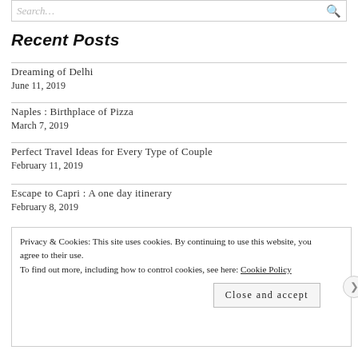Search...
Recent Posts
Dreaming of Delhi
June 11, 2019
Naples : Birthplace of Pizza
March 7, 2019
Perfect Travel Ideas for Every Type of Couple
February 11, 2019
Escape to Capri : A one day itinerary
February 8, 2019
Privacy & Cookies: This site uses cookies. By continuing to use this website, you agree to their use.
To find out more, including how to control cookies, see here: Cookie Policy
Close and accept